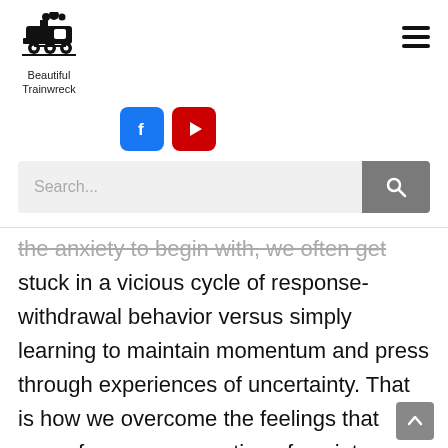[Figure (logo): Train emoji logo icon (steam locomotive) with text 'Beautiful Trainwreck' below it]
[Figure (infographic): Hamburger menu icon (three horizontal lines) in top right corner]
[Figure (infographic): Social media buttons: Facebook (blue) and YouTube (red)]
[Figure (screenshot): Search bar with placeholder text 'Search...' and a grey search button with magnifying glass icon]
the anxiety to begin with, we often get stuck in a vicious cycle of response-withdrawal behavior versus simply learning to maintain momentum and press through experiences of uncertainty. That is how we overcome the feelings that come from our perception of anxiety.